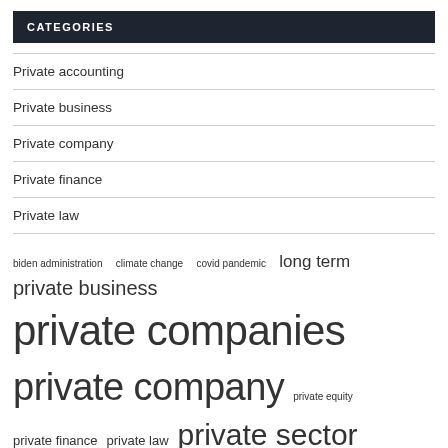CATEGORIES
Private accounting
Private business
Private company
Private finance
Private law
biden administration  climate change  covid pandemic  long term  private business  private companies  private company  private equity  private finance  private law  private sector